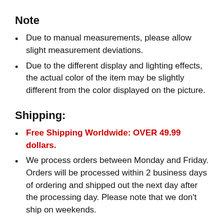Note
Due to manual measurements, please allow slight measurement deviations.
Due to the different display and lighting effects, the actual color of the item may be slightly different from the color displayed on the picture.
Shipping:
Free Shipping Worldwide: OVER 49.99 dollars.
We process orders between Monday and Friday. Orders will be processed within 2 business days of ordering and shipped out the next day after the processing day. Please note that we don't ship on weekends.